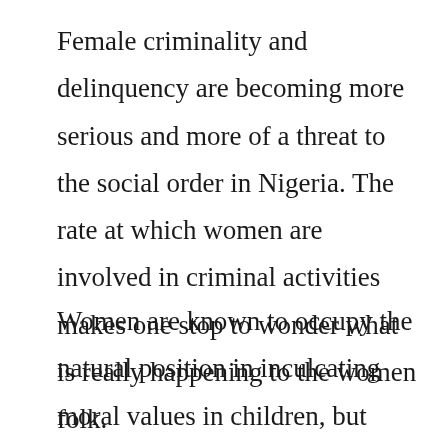Female criminality and delinquency are becoming more serious and more of a threat to the social order in Nigeria. The rate at which women are involved in criminal activities makes one stop to wonder what is really happening to the women folk.
Women are known to occupy the natural position in inculcating moral values in children, but with the rising trend in